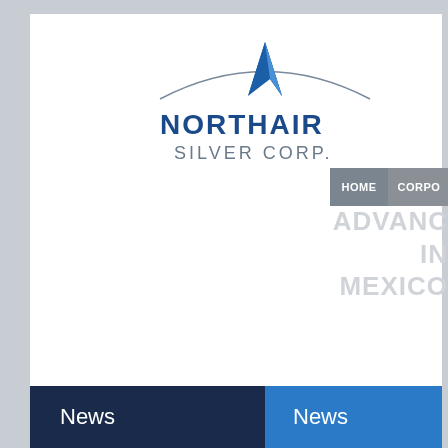[Figure (logo): Northair Silver Corp. logo with blue triangle/arrow graphic and curved arc above company name in navy blue text]
HOME  CORPO
ADVANC IN MEXICO
News
News
February 16, 2016
Kootenay Announce
2016
2015
2014